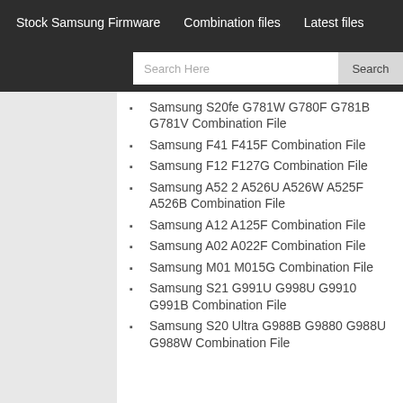Stock Samsung Firmware   Combination files   Latest files
Samsung S20fe G781W G780F G781B G781V Combination File
Samsung F41 F415F Combination File
Samsung F12 F127G Combination File
Samsung A52 2 A526U A526W A525F A526B Combination File
Samsung A12 A125F Combination File
Samsung A02 A022F Combination File
Samsung M01 M015G Combination File
Samsung S21 G991U G998U G9910 G991B Combination File
Samsung S20 Ultra G988B G9880 G988U G988W Combination File